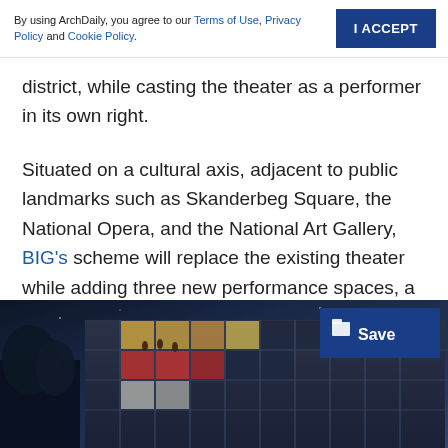By using ArchDaily, you agree to our Terms of Use, Privacy Policy and Cookie Policy. | I ACCEPT
district, while casting the theater as a performer in its own right.
Situated on a cultural axis, adjacent to public landmarks such as Skanderbeg Square, the National Opera, and the National Art Gallery, BIG’s scheme will replace the existing theater while adding three new performance spaces, a rooftop amphitheater, and a covered public space underneath the building.
[Figure (photo): Night-time architectural rendering of a modern theater building with illuminated windows, a glass facade with red and white interior lighting visible, shot from a low angle against a dark blue night sky with trees on the left.]